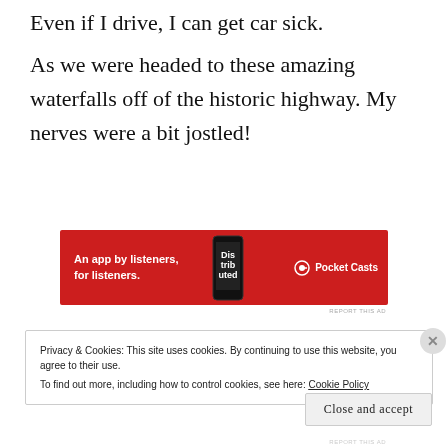Even if I drive, I can get car sick.
As we were headed to these amazing waterfalls off of the historic highway. My nerves were a bit jostled!
[Figure (other): Pocket Casts advertisement banner: red background with text 'An app by listeners, for listeners.' and Pocket Casts logo on the right, phone image in the middle.]
REPORT THIS AD
Privacy & Cookies: This site uses cookies. By continuing to use this website, you agree to their use. To find out more, including how to control cookies, see here: Cookie Policy
Close and accept
REPORT THIS AD